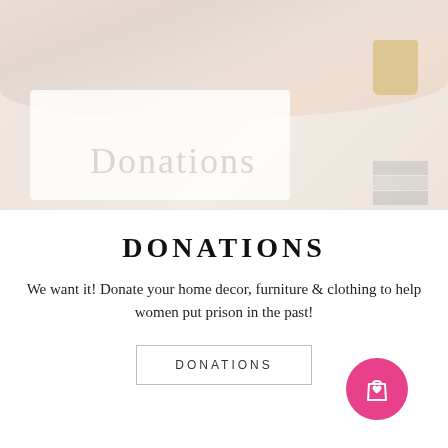[Figure (photo): Photo of a white donation box filled with clothing and home goods, with the word 'Donations' written on it in cursive script. Books and a yellow cup visible in background. Soft, washed-out color palette.]
DONATIONS
We want it! Donate your home decor, furniture & clothing to help women put prison in the past!
DONATIONS